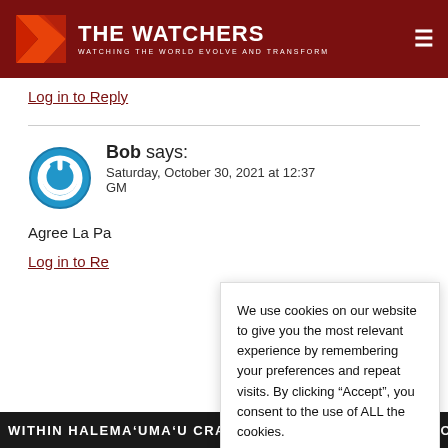[Figure (logo): The Watchers website header with red background, logo icon, site title 'THE WATCHERS' and tagline 'WATCHING THE WORLD EVOLVE AND TRANSFORM']
Log in to Reply
Bob says:
Saturday, October 30, 2021 at 12:37 GM
Agree La Pa
Log in to Re
We use cookies on our website to give you the most relevant experience by remembering your preferences and repeat visits. By clicking “Accept”, you consent to the use of ALL the cookies.
Do not sell my personal information.
WITHIN HALEMA’UMA’U CRATER. THE CURRENT SITUATIONS A